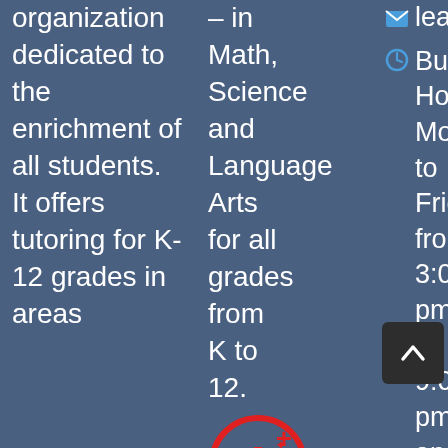organization dedicated to the enrichment of all students. It offers tutoring for K-12 grades in areas
– in Math, Science and Language Arts for all grades from K to 12.
[Figure (logo): Red circle with A+ star logo and TEST label below]
learn(at)a
Business Hours: Monday to Friday from 3:00 pm to 9:00 pm and Saturdays from 10:00